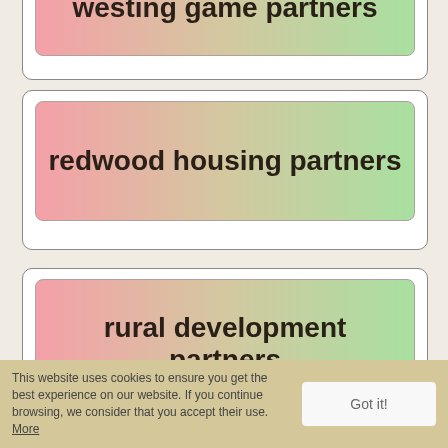westing game partners
redwood housing partners
rural development partners
gonro singapore
This website uses cookies to ensure you get the best experience on our website. If you continue browsing, we consider that you accept their use. More